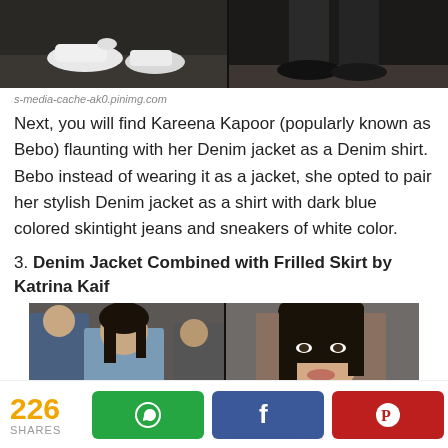[Figure (photo): Top portion of two paparazzi photos showing shoes/feet of a celebrity, dark background]
s-media-cache-ak0.pinimg.com
Next, you will find Kareena Kapoor (popularly known as Bebo) flaunting with her Denim jacket as a Denim shirt. Bebo instead of wearing it as a jacket, she opted to pair her stylish Denim jacket as a shirt with dark blue colored skintight jeans and sneakers of white color.
3. Denim Jacket Combined with Frilled Skirt by Katrina Kaif
[Figure (photo): Two side-by-side paparazzi photos of Katrina Kaif, showing her face and upper body, dark background]